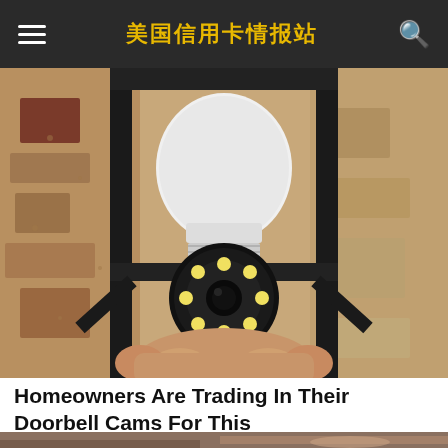美国信用卡情报站
[Figure (photo): A hand screwing in a light bulb security camera with a black circular camera lens and LED lights into an outdoor fixture mounted on a stucco wall]
Homeowners Are Trading In Their Doorbell Cams For This
Camerca
Learn More
[Figure (photo): Bottom strip of another article image, showing a dark textured surface with a partial view of a hand or object]